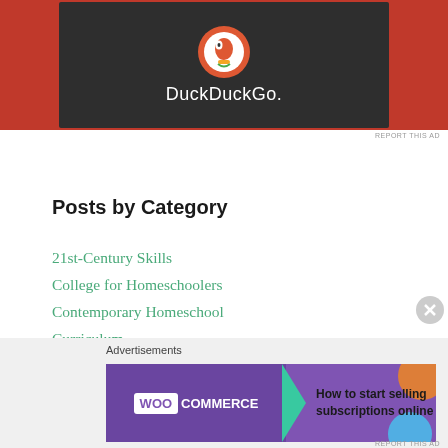[Figure (screenshot): DuckDuckGo advertisement banner with logo on dark background and orange surround]
Posts by Category
21st-Century Skills
College for Homeschoolers
Contemporary Homeschool
Curriculum
Experiential Learning
Homeschool Research and Book Excerpts
Living Books and High Quality Reading
Nature and Screen Time
[Figure (screenshot): WooCommerce advertisement: How to start selling subscriptions online]